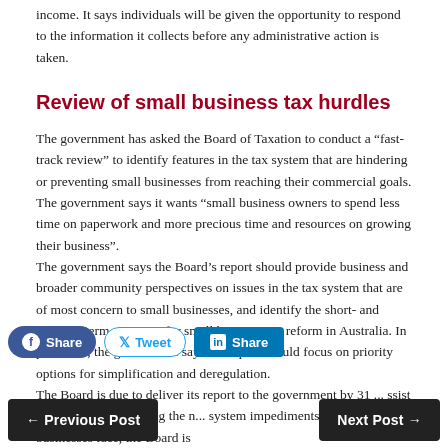income. It says individuals will be given the opportunity to respond to the information it collects before any administrative action is taken.
Review of small business tax hurdles
The government has asked the Board of Taxation to conduct a “fast-track review” to identify features in the tax system that are hindering or preventing small businesses from reaching their commercial goals. The government says it wants “small business owners to spend less time on paperwork and more precious time and resources on growing their business”.
The government says the Board’s report should provide business and broader community perspectives on issues in the tax system that are of most concern to small businesses, and identify the short- and medium-term priorities for small business tax reform in Australia. In particular, the government says the report should focus on priority options for simplification and deregulation.
The Board is due to deliver its report to the government by 31 ... ssist the Board in identifying the ... system impediments that small businesses face, the Board is